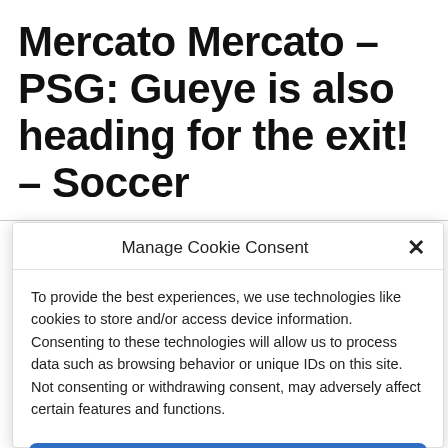Mercato Mercato – PSG: Gueye is also heading for the exit! – Soccer
Manage Cookie Consent
To provide the best experiences, we use technologies like cookies to store and/or access device information. Consenting to these technologies will allow us to process data such as browsing behavior or unique IDs on this site. Not consenting or withdrawing consent, may adversely affect certain features and functions.
Accept
Cookie Policy